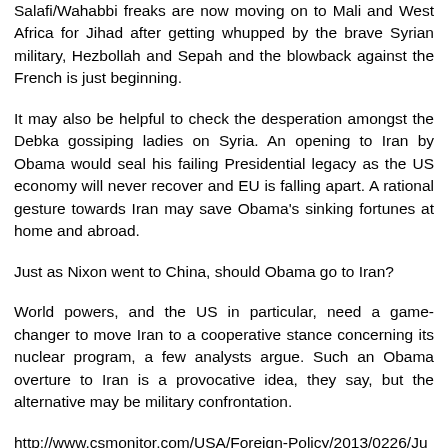Salafi/Wahabbi freaks are now moving on to Mali and West Africa for Jihad after getting whupped by the brave Syrian military, Hezbollah and Sepah and the blowback against the French is just beginning.
It may also be helpful to check the desperation amongst the Debka gossiping ladies on Syria. An opening to Iran by Obama would seal his failing Presidential legacy as the US economy will never recover and EU is falling apart. A rational gesture towards Iran may save Obama's sinking fortunes at home and abroad.
Just as Nixon went to China, should Obama go to Iran?
World powers, and the US in particular, need a game-changer to move Iran to a cooperative stance concerning its nuclear program, a few analysts argue. Such an Obama overture to Iran is a provocative idea, they say, but the alternative may be military confrontation.
http://www.csmonitor.com/USA/Foreign-Policy/2013/0226/Just-as-Nixon-went-to-China-should-Obama-go-to-Iran?nav=87-frontpage-entryLeadStory